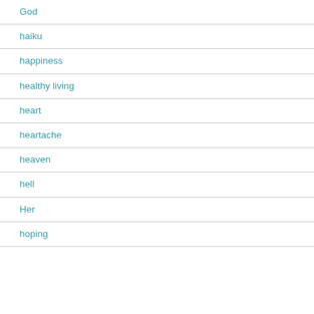God
haiku
happiness
healthy living
heart
heartache
heaven
hell
Her
hoping